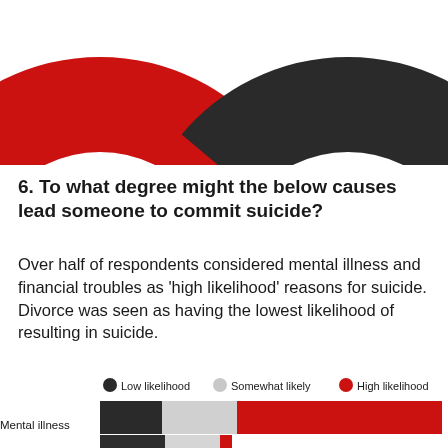[Figure (other): Two large decorative semicircle arcs at the top of the page — one red on the left, one dark charcoal/black on the right — cropped so only the bottom portions are visible.]
6. To what degree might the below causes lead someone to commit suicide?
Over half of respondents considered mental illness and financial troubles as 'high likelihood' reasons for suicide. Divorce was seen as having the lowest likelihood of resulting in suicide.
[Figure (stacked-bar-chart): Horizontal stacked bar chart showing likelihood categories (Low likelihood in dark/black, Somewhat likely in light grey, High likelihood in red) for causes of suicide. Mental illness row is visible with a dark segment, light grey segment, and large red segment. A partial second row appears at the bottom.]